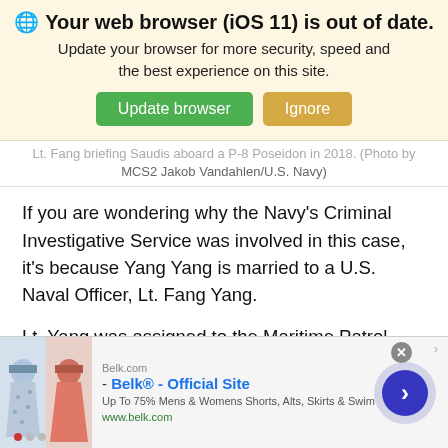[Figure (screenshot): Browser update notification banner with globe icon, title 'Your web browser (iOS 11) is out of date.', subtitle 'Update your browser for more security, speed and the best experience on this site.', and two buttons: green 'Update browser' and tan 'Ignore'.]
Lt. Fang briefing Saudis aboard a P-8 Poseidon in 2018. (Photo by MCS2 Jakob Vandahlen/U.S. Navy)
If you are wondering why the Navy's Criminal Investigative Service was involved in this case, it's because Yang Yang is married to a U.S. Naval Officer, Lt. Fang Yang.
Lt. Yang was assigned to the Maritime Patrol Reconnaissance Weapons School at Naval Air Station Jacksonville. This school trains aircrews on the P-8 Poseidon Maritime Patrol and Anti-Submarine Warfare
[Figure (screenshot): Advertisement banner for Belk.com showing clothing images, brand name 'Belk® - Official Site', tagline 'Up To 75% Mens & Womens Shorts, Alts, Skirts & Swim', URL www.belk.com, with navigation arrow circle on right.]